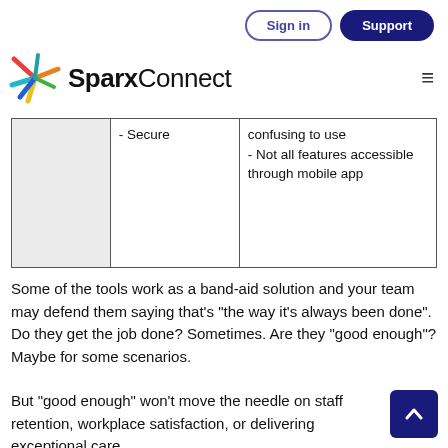Sign in | Support | SparxConnect
|  | - Secure | confusing to use
- Not all features accessible through mobile app |
Some of the tools work as a band-aid solution and your team may defend them saying that's "the way it's always been done". Do they get the job done? Sometimes. Are they "good enough"? Maybe for some scenarios.
But "good enough" won't move the needle on staff retention, workplace satisfaction, or delivering exceptional care.